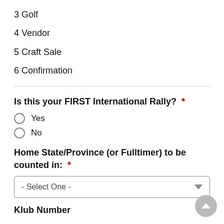3 Golf
4 Vendor
5 Craft Sale
6 Confirmation
Is this your FIRST International Rally? *
Yes
No
Home State/Province (or Fulltimer) to be counted in: *
- Select One -
Klub Number